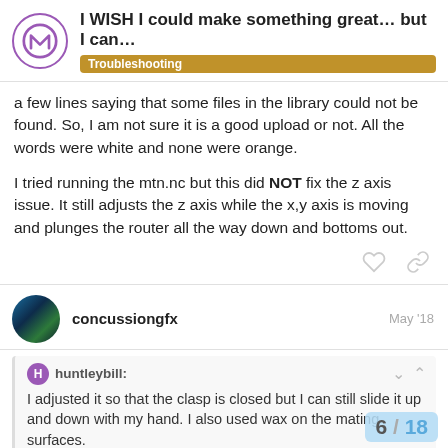I WISH I could make something great… but I can… | Troubleshooting
a few lines saying that some files in the library could not be found. So, I am not sure it is a good upload or not. All the words were white and none were orange.
I tried running the mtn.nc but this did NOT fix the z axis issue. It still adjusts the z axis while the x,y axis is moving and plunges the router all the way down and bottoms out.
concussiongfx — May '18
huntleybill: I adjusted it so that the clasp is closed but I can still slide it up and down with my hand. I also used wax on the mating surfaces.
6 / 18